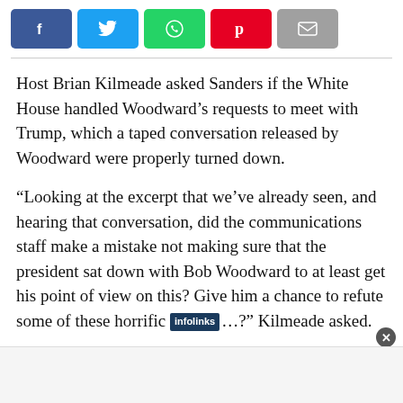[Figure (other): Social sharing buttons: Facebook (blue), Twitter (cyan), WhatsApp (green), Pinterest (red), Email (gray)]
Host Brian Kilmeade asked Sanders if the White House handled Woodward’s requests to meet with Trump, which a taped conversation released by Woodward were properly turned down.
“Looking at the excerpt that we’ve already seen, and hearing that conversation, did the communications staff make a mistake not making sure that the president sat down with Bob Woodward to at least get his point of view on this? Give him a chance to refute some of these horrific …?” Kilmeade asked.